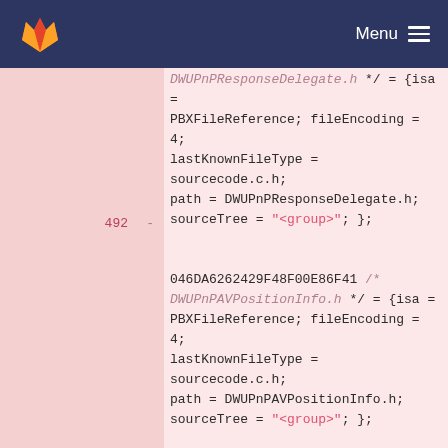Menu
[Figure (screenshot): GitLab fox logo in orange on dark blue navigation bar header]
DWUPnPResponseDelegate.h */ = {isa = PBXFileReference; fileEncoding = 4; lastKnownFileType = sourcecode.c.h; path = DWUPnPResponseDelegate.h; sourceTree = "<group>"; };
492
-
046DA6262429F48F00E86F41 /* DWUPnPAVPositionInfo.h */ = {isa = PBXFileReference; fileEncoding = 4; lastKnownFileType = sourcecode.c.h; path = DWUPnPAVPositionInfo.h; sourceTree = "<group>"; };
493
-
046DA6272429F48F00E86F41 /* libCCSDK.a */ = {isa = PBXFileReference; lastKnownFileType = archive.ar; path = libCCSDK.a; sourceTree = "<group>"; };
494
-
046DA6282429F48F00E86F41 /* DWDownloadModel.h */ = {isa =